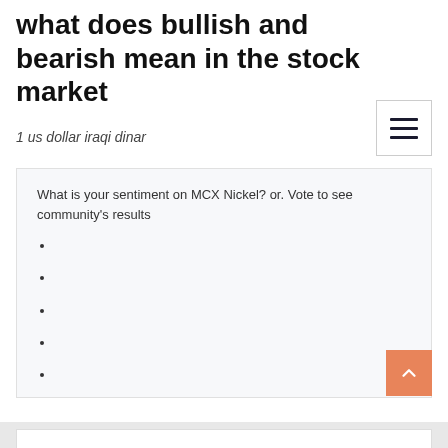what does bullish and bearish mean in the stock market
1 us dollar iraqi dinar
What is your sentiment on MCX Nickel? or. Vote to see community's results